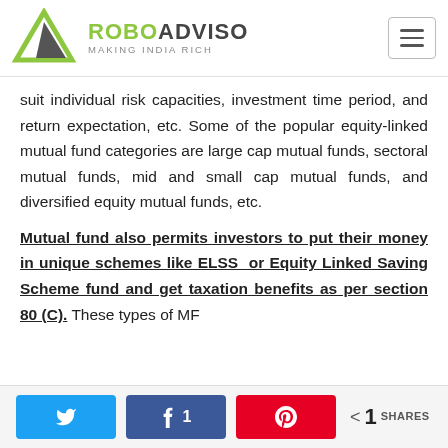ROBOADVISO — MAKING INDIA RICH
suit individual risk capacities, investment time period, and return expectation, etc. Some of the popular equity-linked mutual fund categories are large cap mutual funds, sectoral mutual funds, mid and small cap mutual funds, and diversified equity mutual funds, etc.
Mutual fund also permits investors to put their money in unique schemes like ELSS or Equity Linked Saving Scheme fund and get taxation benefits as per section 80 (C). These types of MF
Social share bar: Twitter, Facebook 1, Pinterest, < 1 SHARES